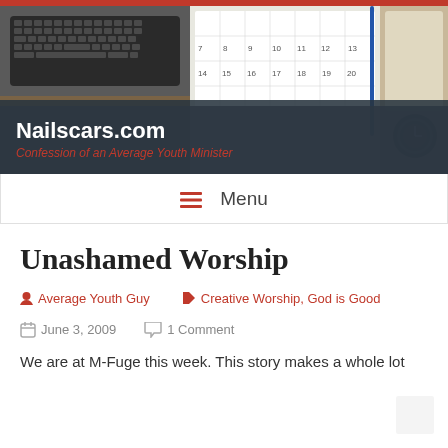[Figure (photo): Website header banner showing a desk with keyboard, calendar, tablet, pen, notebook, and alarm clock from above, with a dark overlay showing 'Nailscars.com' and subtitle 'Confession of an Average Youth Minister']
☰  Menu
Unashamed Worship
Average Youth Guy   Creative Worship, God is Good
June 3, 2009   1 Comment
We are at M-Fuge this week. This story makes a whole lot